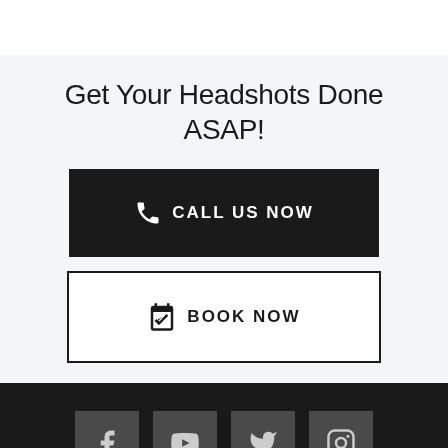Get Your Headshots Done ASAP!
CALL US NOW
BOOK NOW
[Figure (infographic): Footer with four social media icons: Facebook, YouTube, Twitter, Instagram on dark background]